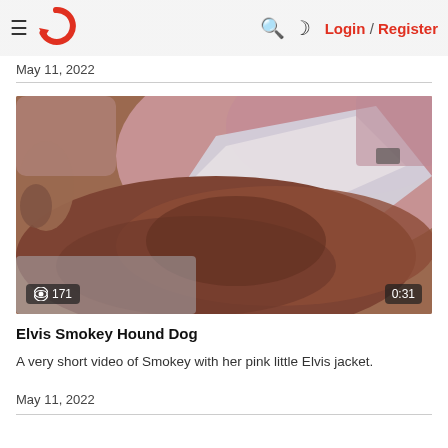≡ [logo] 🔍 ☾ Login / Register
May 11, 2022
[Figure (photo): A close-up blurry photo of a dog (Smokey) wearing a pink Elvis jacket, lying down on what appears to be bedding. View count: 171, Duration: 0:31]
Elvis Smokey Hound Dog
A very short video of Smokey with her pink little Elvis jacket.
May 11, 2022